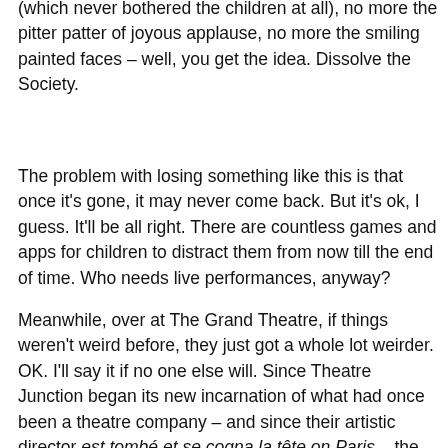(which never bothered the children at all), no more the pitter patter of joyous applause, no more the smiling painted faces – well, you get the idea. Dissolve the Society.
The problem with losing something like this is that once it's gone, it may never come back. But it's ok, I guess. It'll be all right. There are countless games and apps for children to distract them from now till the end of time. Who needs live performances, anyway?
Meanwhile, over at The Grand Theatre, if things weren't weird before, they just got a whole lot weirder. OK. I'll say it if no one else will. Since Theatre Junction began its new incarnation of what had once been a theatre company – and since their artistic director est tombé et se cogna la tête on Paris – the company has been a rather mysterious